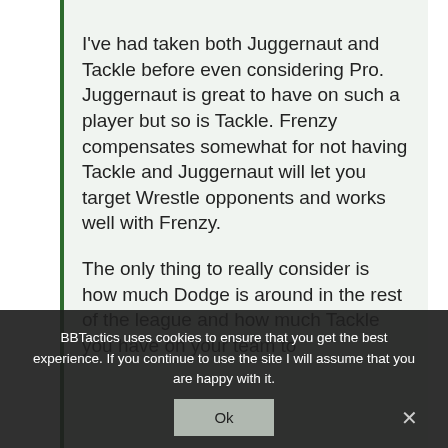I've had taken both Juggernaut and Tackle before even considering Pro. Juggernaut is great to have on such a player but so is Tackle. Frenzy compensates somewhat for not having Tackle and Juggernaut will let you target Wrestle opponents and works well with Frenzy.
The only thing to really consider is how much Dodge is around in the rest of the league and how much Tackle you have on your team to
BBTactics uses cookies to ensure that you get the best experience. If you continue to use the site I will assume that you are happy with it.